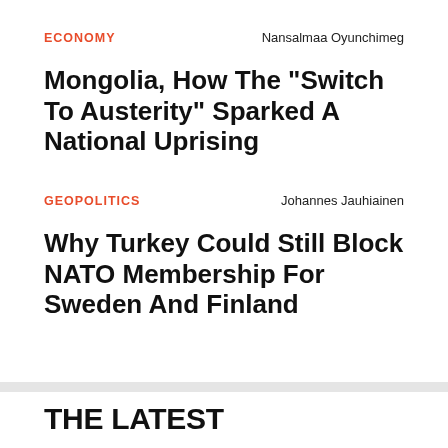ECONOMY
Nansalmaa Oyunchimeg
Mongolia, How The "Switch To Austerity" Sparked A National Uprising
GEOPOLITICS
Johannes Jauhiainen
Why Turkey Could Still Block NATO Membership For Sweden And Finland
THE LATEST